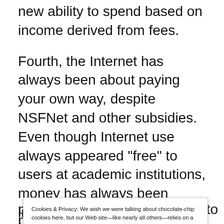new ability to spend based on income derived from fees.
Fourth, the Internet has always been about paying your own way, despite NSFNet and other subsidies. Even though Internet use always appeared "free" to users at academic institutions, money has always been involved. These days, any commercial Internet user is
Cookies & Privacy: We wish we were talking about chocolate-chip cookies here, but our Web site—like nearly all others—relies on a few minor digital cookies. Various laws around the world require us to tell you that fact, so consider yourself informed, if not nourished. By continuing to use this site, you agree to our use of these cookies. Cookie and Privacy Notice [Close and Accept]
proliferation of domain names to some extent